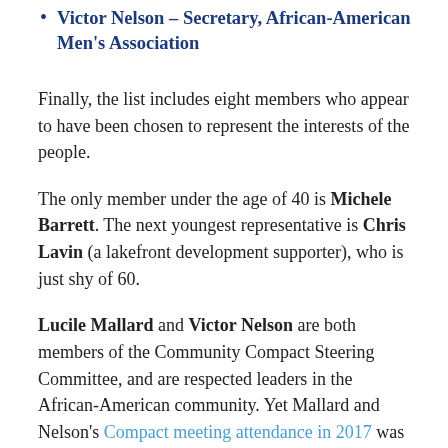Victor Nelson – Secretary, African-American Men's Association
Finally, the list includes eight members who appear to have been chosen to represent the interests of the people.
The only member under the age of 40 is Michele Barrett. The next youngest representative is Chris Lavin (a lakefront development supporter), who is just shy of 60.
Lucile Mallard and Victor Nelson are both members of the Community Compact Steering Committee, and are respected leaders in the African-American community. Yet Mallard and Nelson's Compact meeting attendance in 2017 was very poor. Compact Committee members are expected to find alternates if they cannot attend a monthly meeting, yet Mallard attended only seven meetings, and Nelson a mere five meetings (with one